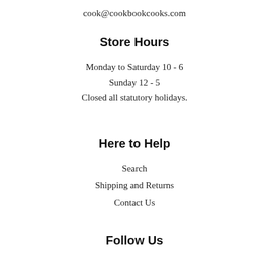cook@cookbookcooks.com
Store Hours
Monday to Saturday 10 - 6
Sunday 12 - 5
Closed all statutory holidays.
Here to Help
Search
Shipping and Returns
Contact Us
Follow Us